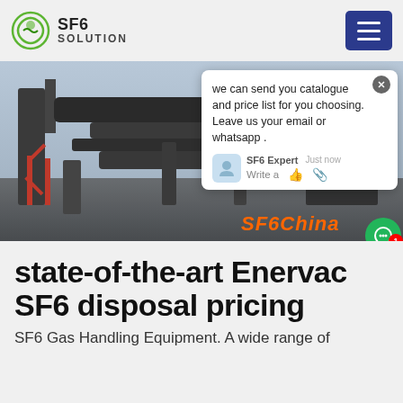SF6 SOLUTION
[Figure (photo): Industrial SF6 gas handling equipment at an electrical substation, with large pipes and switchgear visible. A chat popup overlay shows 'we can send you catalogue and price list for you choosing. Leave us your email or whatsapp.' from SF6 Expert. The text 'SF6China' appears in orange at the bottom right of the image.]
state-of-the-art Enervac SF6 disposal pricing
SF6 Gas Handling Equipment. A wide range of